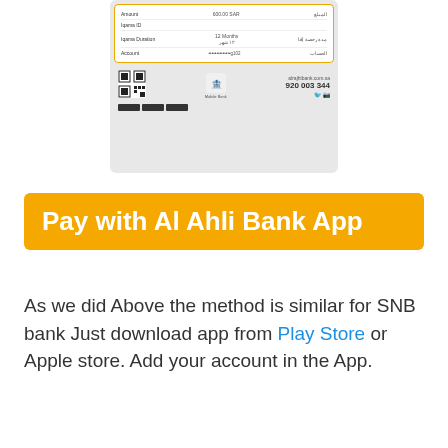[Figure (screenshot): A bank receipt/transaction slip showing fields: Amount (600.00 SAR), Iqama ID, Iqama Duration (12 Months), Account (masked number ending g102), with Arabic labels on the right side. Below the receipt details is a footer with a QR code, Al Ahli bank logo, website alrajhibank.com.sa, phone number 920 003 344, social media icons, and app store download buttons.]
Pay with Al Ahli Bank App
As we did Above the method is similar for SNB bank Just download app from Play Store or Apple store. Add your account in the App.